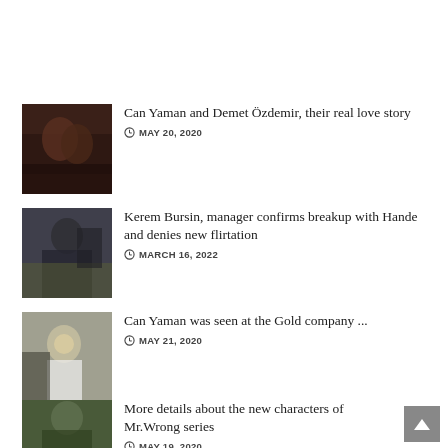[Figure (photo): Thumbnail photo of couple close together]
Can Yaman and Demet Özdemir, their real love story
MAY 20, 2020
[Figure (photo): Thumbnail photo of Kerem Bursin]
Kerem Bursin, manager confirms breakup with Hande and denies new flirtation
MARCH 16, 2022
[Figure (photo): Thumbnail photo of Can Yaman wearing mask outdoors]
Can Yaman was seen at the Gold company ...
MAY 21, 2020
[Figure (photo): Thumbnail photo of man in green shirt]
More details about the new characters of Mr.Wrong series
MAY 19, 2020